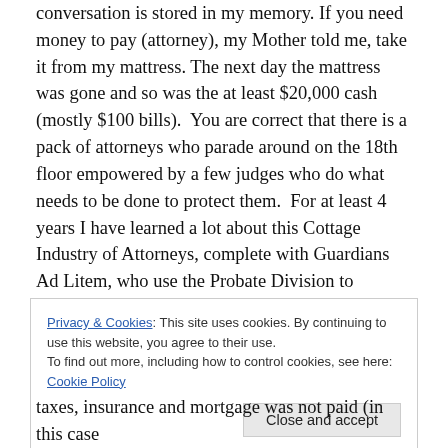conversation is stored in my memory. If you need money to pay (attorney), my Mother told me, take it from my mattress. The next day the mattress was gone and so was the at least $20,000 cash (mostly $100 bills). You are correct that there is a pack of attorneys who parade around on the 18th floor empowered by a few judges who do what needs to be done to protect them. For at least 4 years I have learned a lot about this Cottage Industry of Attorneys, complete with Guardians Ad Litem, who use the Probate Division to launder money. It’s easier than you have described.
Privacy & Cookies: This site uses cookies. By continuing to use this website, you agree to their use.
To find out more, including how to control cookies, see here: Cookie Policy
taxes, insurance and mortgage was not paid (in this case